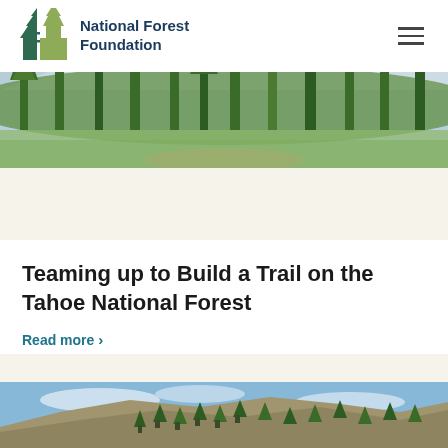National Forest Foundation
[Figure (photo): Forest landscape with tall pine trees and snow-capped mountains in background under blue sky]
Teaming up to Build a Trail on the Tahoe National Forest
Read more >
[Figure (photo): Rocky hillside covered with pine trees under blue sky with light clouds]